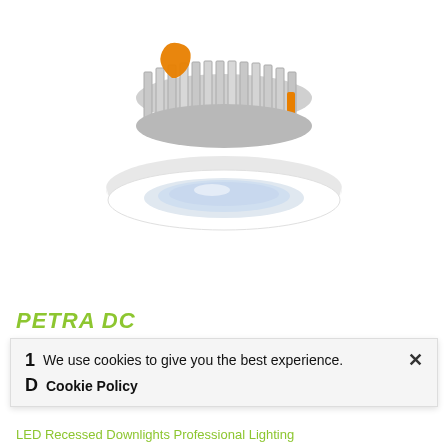[Figure (photo): LED recessed downlight product photo (PETRA DC series) showing a white circular downlight fixture with aluminum heat sink fins on top, orange spring clips, viewed from a 3/4 angle above. White background.]
PETRA DC
We use cookies to give you the best experience. ×
Cookie Policy
LED Recessed Downlights Professional Lighting